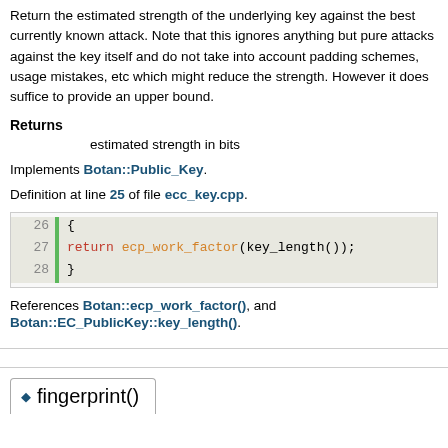Return the estimated strength of the underlying key against the best currently known attack. Note that this ignores anything but pure attacks against the key itself and do not take into account padding schemes, usage mistakes, etc which might reduce the strength. However it does suffice to provide an upper bound.
Returns
estimated strength in bits
Implements Botan::Public_Key.
Definition at line 25 of file ecc_key.cpp.
[Figure (screenshot): Code block showing lines 26-28: { return ecp_work_factor(key_length()); }]
References Botan::ecp_work_factor(), and Botan::EC_PublicKey::key_length().
fingerprint()